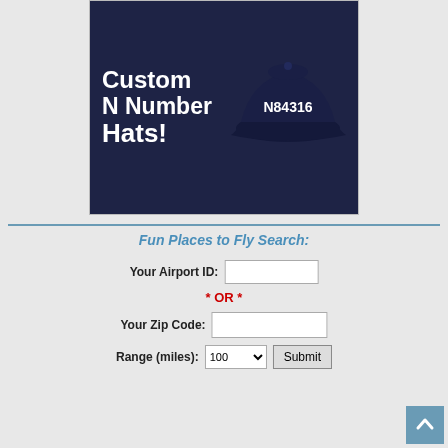[Figure (illustration): Advertisement banner for Custom N Number Hats showing dark navy baseball cap with N84316 embroidered on it. Text reads 'Custom N Number Hats!' in bold dark letters on the left side.]
Fun Places to Fly Search:
Your Airport ID:
* OR *
Your Zip Code:
Range (miles):